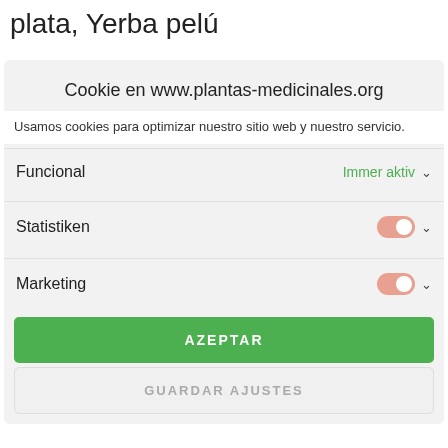plata, Yerba pelú
Cookie en www.plantas-medicinales.org
Usamos cookies para optimizar nuestro sitio web y nuestro servicio.
Funcional
Immer aktiv
Statistiken
Marketing
AZEPTAR
GUARDAR AJUSTES